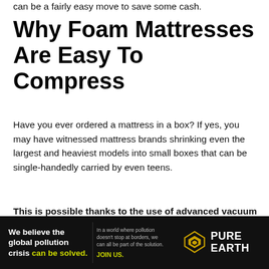can be a fairly easy move to save some cash.
Why Foam Mattresses Are Easy To Compress
Have you ever ordered a mattress in a box? If yes, you may have witnessed mattress brands shrinking even the largest and heaviest models into small boxes that can be single-handedly carried by even teens.
This is possible thanks to the use of advanced vacuum compression machines as well as the flexibility and soft contouring properties of polyurethane foams. These are the same qualities that
[Figure (infographic): Pure Earth advertisement banner with black background. Left side reads 'We believe the global pollution crisis can be solved.' in white and green text. Middle reads 'In a world where pollution doesn't stop at borders, we can all be part of the solution. JOIN US.' in light grey and yellow text. Right side shows Pure Earth logo with diamond/chevron icon and text 'PURE EARTH' in white.]